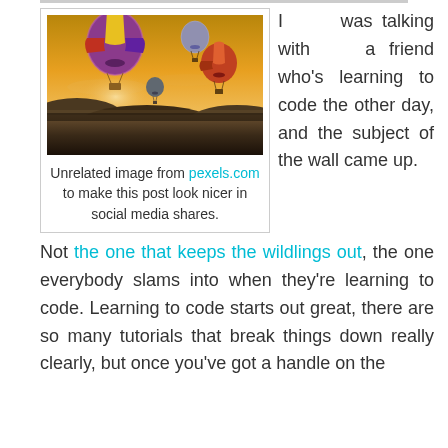[Figure (photo): Photo of three hot air balloons flying over a misty valley at sunset/golden hour, with hills and fields below.]
Unrelated image from pexels.com to make this post look nicer in social media shares.
I was talking with a friend who's learning to code the other day, and the subject of the wall came up. Not the one that keeps the wildlings out, the one everybody slams into when they're learning to code. Learning to code starts out great, there are so many tutorials that break things down really clearly, but once you've got a handle on the